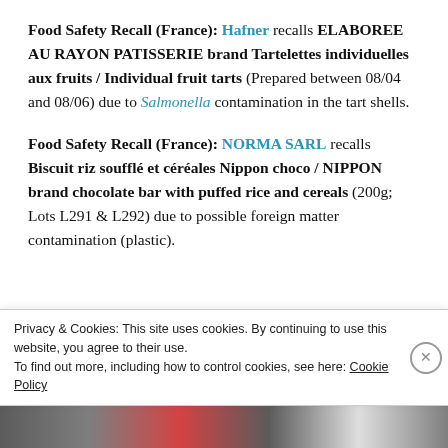Food Safety Recall (France): Hafner recalls ELABOREE AU RAYON PATISSERIE brand Tartelettes individuelles aux fruits / Individual fruit tarts (Prepared between 08/04 and 08/06) due to Salmonella contamination in the tart shells.
Food Safety Recall (France): NORMA SARL recalls Biscuit riz soufflé et céréales Nippon choco / NIPPON brand chocolate bar with puffed rice and cereals (200g; Lots L291 & L292) due to possible foreign matter contamination (plastic).
Privacy & Cookies: This site uses cookies. By continuing to use this website, you agree to their use. To find out more, including how to control cookies, see here: Cookie Policy